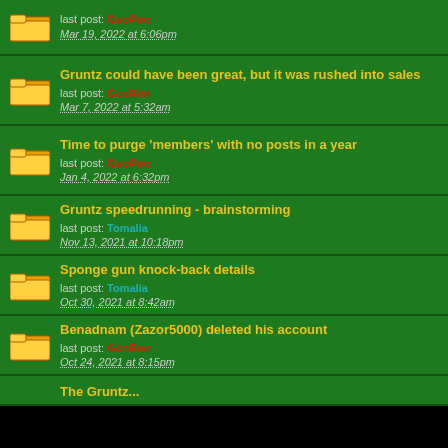last post: GooRoo
Mar 19, 2022 at 6:06pm
Gruntz could have been great, but it was rushed into sales
last post: GooRoo
Mar 7, 2022 at 5:32am
Time to purge 'members' with no posts in a year
last post: GooRoo
Jan 4, 2022 at 6:32pm
Gruntz speedrunning - brainstorming
last post: Tomalia
Nov 13, 2021 at 10:18pm
Sponge gun knock-back details
last post: Tomalia
Oct 30, 2021 at 8:42am
Benadnam (Zazor5000) deleted his account
last post: GooRoo
Oct 24, 2021 at 8:15pm
The Gruntz...